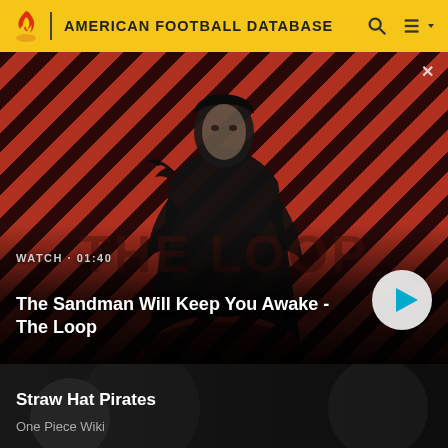AMERICAN FOOTBALL DATABASE
[Figure (screenshot): Video card with diagonal red and dark stripe background. A person dressed in dark clothing with a raven on their shoulder is centered. Shows WATCH · 01:40 label and title 'The Sandman Will Keep You Awake - The Loop' with a play button.]
The Sandman Will Keep You Awake - The Loop
[Figure (screenshot): Second content card with dark background showing 'Straw Hat Pirates' title and 'One Piece Wiki' subtitle]
Straw Hat Pirates
One Piece Wiki